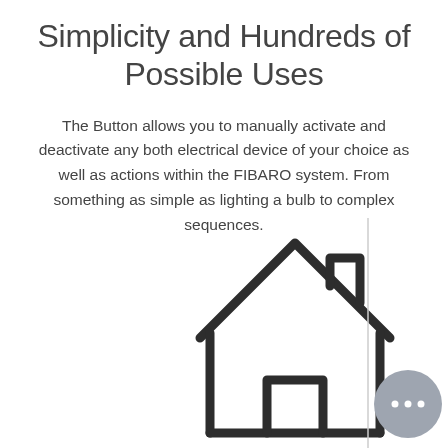Simplicity and Hundreds of Possible Uses
The Button allows you to manually activate and deactivate any both electrical device of your choice as well as actions within the FIBARO system. From something as simple as lighting a bulb to complex sequences.
[Figure (illustration): A simple line-art icon of a house (home symbol) with a roof, chimney notch, and rectangular door opening, drawn in dark strokes on white background. A gray circular chat button with three dots appears in the lower right. A vertical dividing line appears on the right side.]